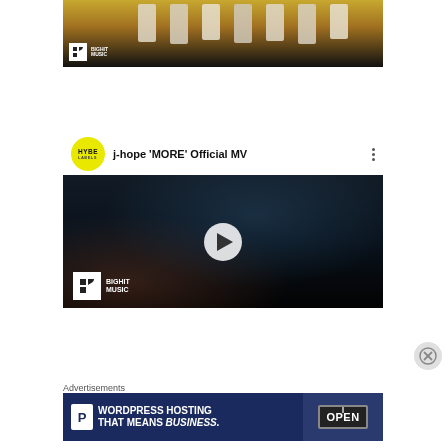[Figure (screenshot): Top portion of a YouTube video thumbnail showing a group of people in white outfits against a yellow/dark background with BigHit Music logo]
[Figure (screenshot): YouTube video embed for j-hope 'MORE' Official MV by HYBE LABELS, showing a dark industrial scene with play button overlay and BigHit Music logo]
[Figure (screenshot): Advertisement banner: WordPress Hosting That Means Business with parking P icon and an OPEN sign image on dark blue background]
Advertisements